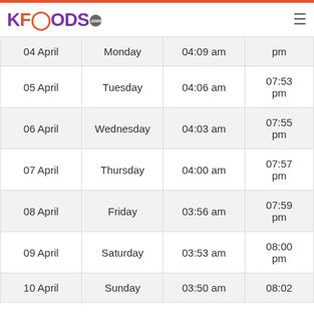KFOODS.com
| Date | Day | Sehri | Iftar |
| --- | --- | --- | --- |
| 04 April | Monday | 04:09 am | pm |
| 05 April | Tuesday | 04:06 am | 07:53 pm |
| 06 April | Wednesday | 04:03 am | 07:55 pm |
| 07 April | Thursday | 04:00 am | 07:57 pm |
| 08 April | Friday | 03:56 am | 07:59 pm |
| 09 April | Saturday | 03:53 am | 08:00 pm |
| 10 April | Sunday | 03:50 am | 08:02 |